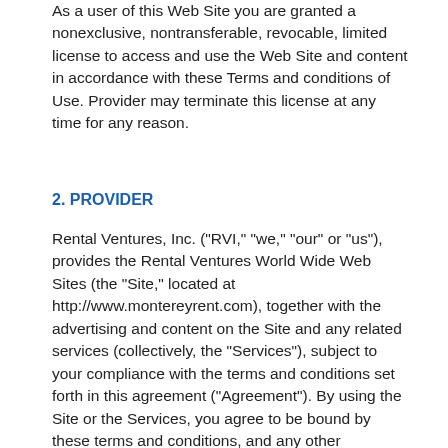As a user of this Web Site you are granted a nonexclusive, nontransferable, revocable, limited license to access and use the Web Site and content in accordance with these Terms and conditions of Use. Provider may terminate this license at any time for any reason.
2. PROVIDER
Rental Ventures, Inc. ("RVI," "we," "our" or "us"), provides the Rental Ventures World Wide Web Sites (the "Site," located at http://www.montereyrent.com), together with the advertising and content on the Site and any related services (collectively, the "Services"), subject to your compliance with the terms and conditions set forth in this agreement ("Agreement"). By using the Site or the Services, you agree to be bound by these terms and conditions, and any other agreement you are required to enter into with RVI in conjunction with your participation in the Site. If you do not agree to these terms and conditions, please do not use the Site or the Services. This Agreement is made between RVI and you, as a registered member or visitor ("you"). The words "you" or "your" shall also mean heirs, executors,